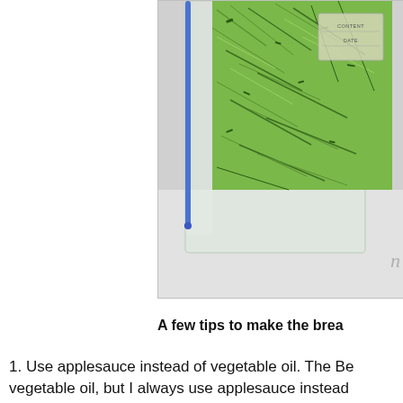[Figure (photo): Photo of shredded zucchini inside a clear plastic zip-lock bag with a blue zipper seal, placed on a white/light grey surface. A label area is visible in the upper right of the bag. A watermark letter 'n' is visible in the lower right of the image.]
A few tips to make the brea
1. Use applesauce instead of vegetable oil. The Be vegetable oil, but I always use applesauce instead